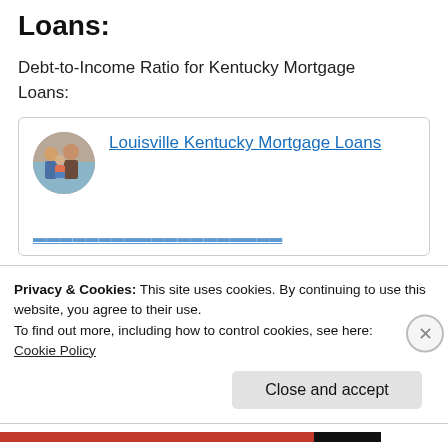Loans:
Debt-to-Income Ratio for Kentucky Mortgage Loans:
[Figure (illustration): Circular avatar photo of a family, used as a profile image for Louisville Kentucky Mortgage Loans]
Louisville Kentucky Mortgage Loans
Privacy & Cookies: This site uses cookies. By continuing to use this website, you agree to their use.
To find out more, including how to control cookies, see here:
Cookie Policy
Close and accept